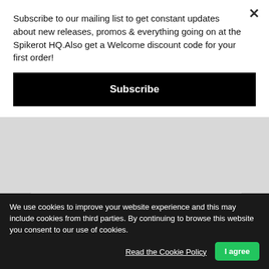Subscribe to our mailing list to get constant updates about new releases, promos & everything going on at the Spikerot HQ.Also get a Welcome discount code for your first order!
Subscribe
| Genre | Progressive Metal |
| Format | CD |
We use cookies to improve your website experience and this may include cookies from third parties. By continuing to browse this website you consent to our use of cookies.
Read the Cookie Policy
I agree